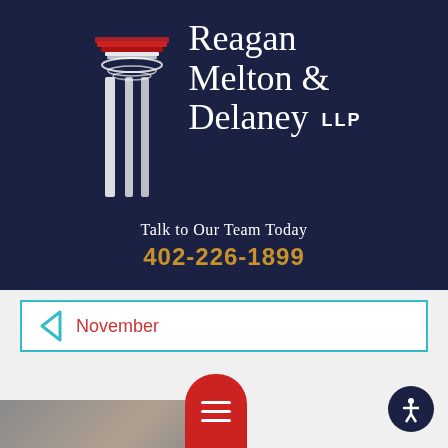[Figure (logo): Reagan Melton & Delaney LLP law firm logo with white column/pillar graphic on dark navy background]
Talk to Our Team Today
402-226-1899
November
[Figure (photo): Partial photograph at bottom of page showing a person, cropped]